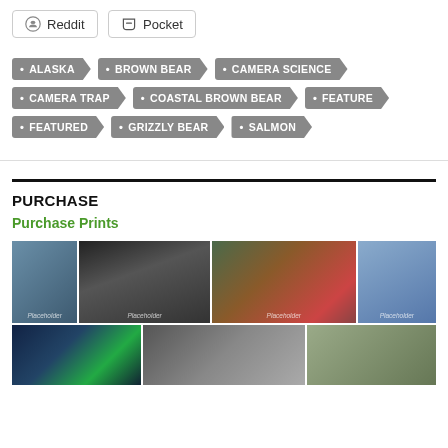Reddit
Pocket
• ALASKA
• BROWN BEAR
• CAMERA SCIENCE
• CAMERA TRAP
• COASTAL BROWN BEAR
• FEATURE
• FEATURED
• GRIZZLY BEAR
• SALMON
PURCHASE
Purchase Prints
[Figure (photo): Grid of nature/wildlife photos including owl, salmon texture, fish close-up, kayakers on water, northern lights, rocky shore, and wildlife scenes]